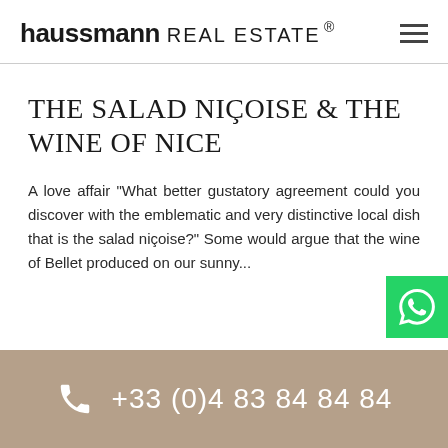haussmann REAL ESTATE ®
THE SALAD NIÇOISE & THE WINE OF NICE
A love affair "What better gustatory agreement could you discover with the emblematic and very distinctive local dish that is the salad niçoise?" Some would argue that the wine of Bellet produced on our sunny...
[Figure (logo): WhatsApp contact button (green square with white phone/chat icon)]
+33 (0)4 83 84 84 84